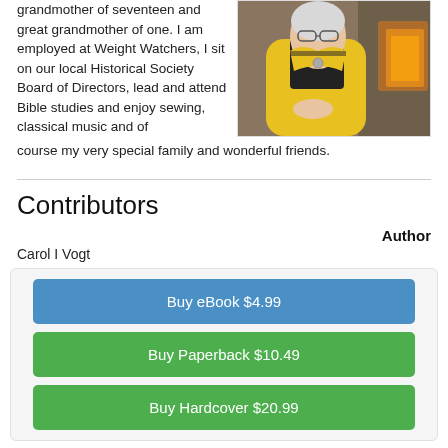grandmother of seventeen and great grandmother of one. I am employed at Weight Watchers, I sit on our local Historical Society Board of Directors, lead and attend Bible studies and enjoy sewing, classical music and of course my very special family and wonderful friends.
[Figure (photo): Older woman with glasses wearing a yellow jacket, seated in front of a fireplace]
Contributors
Author
Carol I Vogt
Buy eBook $4.99
Buy Paperback $10.49
Buy Hardcover $20.99
Printer Page Edition